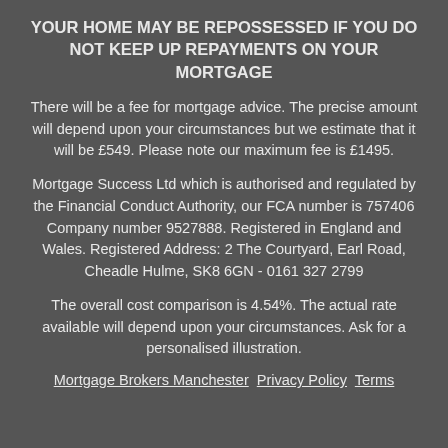YOUR HOME MAY BE REPOSSESSED IF YOU DO NOT KEEP UP REPAYMENTS ON YOUR MORTGAGE
There will be a fee for mortgage advice. The precise amount will depend upon your circumstances but we estimate that it will be £549. Please note our maximum fee is £1495.
Mortgage Success Ltd which is authorised and regulated by the Financial Conduct Authority, our FCA number is 757406 Company number 9527888. Registered in England and Wales. Registered Address: 2 The Courtyard, Earl Road, Cheadle Hulme, SK8 6GN - 0161 327 2799
The overall cost comparison is 4.54%. The actual rate available will depend upon your circumstances. Ask for a personalised illustration.
Mortgage Brokers Manchester  Privacy Policy  Terms